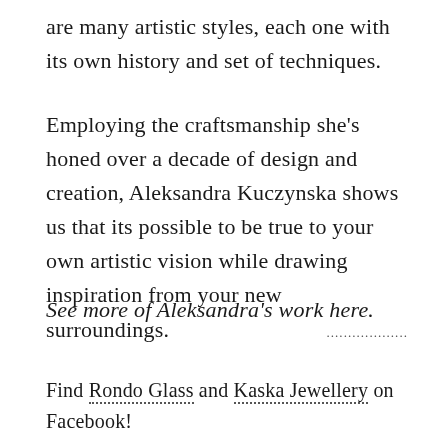are many artistic styles, each one with its own history and set of techniques.
Employing the craftsmanship she’s honed over a decade of design and creation, Aleksandra Kuczynska shows us that its possible to be true to your own artistic vision while drawing inspiration from your new surroundings.
See more of Aleksandra’s work here.
Find Rondo Glass and Kaska Jewellery on Facebook!